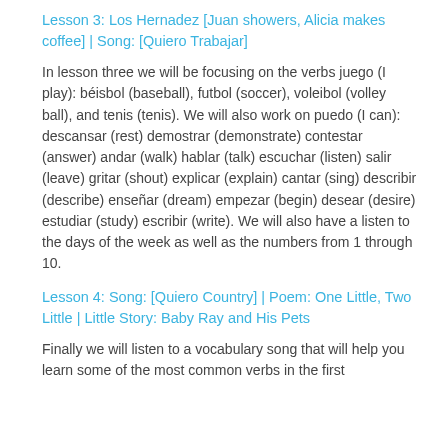Lesson 3: Los Hernadez [Juan showers, Alicia makes coffee] | Song: [Quiero Trabajar]
In lesson three we will be focusing on the verbs juego (I play): béisbol (baseball), futbol (soccer), voleibol (volley ball), and tenis (tenis). We will also work on puedo (I can): descansar (rest) demostrar (demonstrate) contestar (answer) andar (walk) hablar (talk) escuchar (listen) salir (leave) gritar (shout) explicar (explain) cantar (sing) describir (describe) enseñar (dream) empezar (begin) desear (desire) estudiar (study) escribir (write). We will also have a listen to the days of the week as well as the numbers from 1 through 10.
Lesson 4: Song: [Quiero Country] | Poem: One Little, Two Little | Little Story: Baby Ray and His Pets
Finally we will listen to a vocabulary song that will help you learn some of the most common verbs in the first